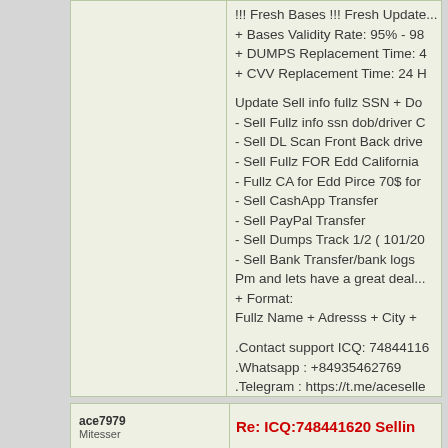!!! Fresh Bases !!! Fresh Updates
+ Bases Validity Rate: 95% - 98
+ DUMPS Replacement Time: 4
+ CVV Replacement Time: 24 H

Update Sell info fullz SSN + Do
- Sell Fullz info ssn dob/driver C
- Sell DL Scan Front Back drive
- Sell Fullz FOR Edd California
- Fullz CA for Edd Pirce 70$ for
- Sell CashApp Transfer
- Sell PayPal Transfer
- Sell Dumps Track 1/2 ( 101/20
- Sell Bank Transfer/bank logs
Pm and lets have a great deal...
+ Format:
Fullz Name + Adresss + City +

.Contact support ICQ: 748441620
.Whatsapp : +84935462769
.Telegram : https://t.me/aceselle
https://t.me/acesellers7979_ver
ace7979
Mitesser
Re: ICQ:748441620 Sellin